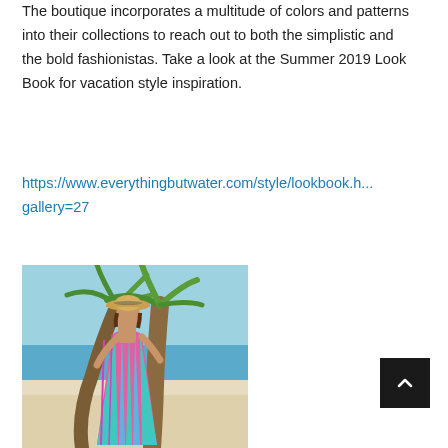The boutique incorporates a multitude of colors and patterns into their collections to reach out to both the simplistic and the bold fashionistas. Take a look at the Summer 2019 Look Book for vacation style inspiration.
https://www.everythingbutwater.com/style/lookbook.html?gallery=27
[Figure (photo): A woman in a colorful striped kaftan dress and straw hat standing next to a palm tree on a tropical beach with blue water and white sand in the background.]